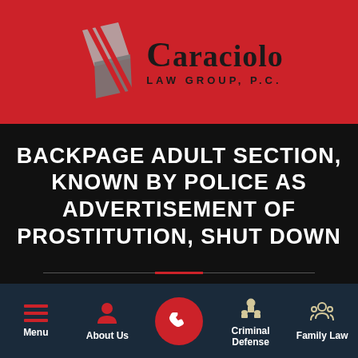[Figure (logo): Caraciolo Law Group, P.C. logo with stylized overlapping diamond/shield shapes in gray on red background, with firm name text]
BACKPAGE ADULT SECTION, KNOWN BY POLICE AS ADVERTISEMENT OF PROSTITUTION, SHUT DOWN
[Figure (infographic): Mobile website navigation bar with Menu, About Us, phone call button, Criminal Defense, and Family Law icons on dark navy background]